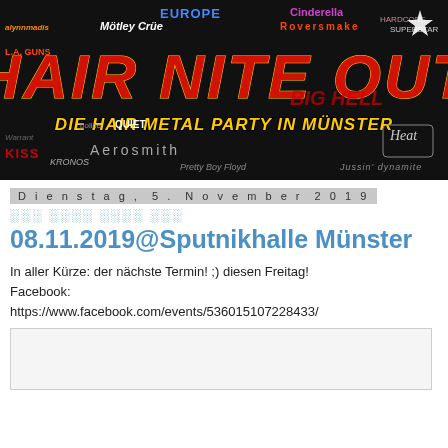[Figure (illustration): Hair Nite Out banner — black background with colorful rock band logos (Europe, Mötley Crüe, KISS, Aerosmith, etc.), large red/yellow stylized text 'HAIR NITE OUT' and subtitle 'DIE HAIR METAL PARTY IN MÜNSTER']
Dienstag, 5. November 2019
░░░ ░░░░ ░░░░ ░░░
08.11.2019@Sputnikhalle Münster
In aller Kürze: der nächste Termin! ;) diesen Freitag!
Facebook:
https://www.facebook.com/events/536015107228433/